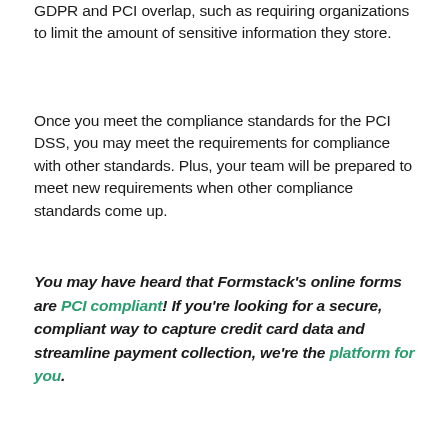GDPR and PCI overlap, such as requiring organizations to limit the amount of sensitive information they store.
Once you meet the compliance standards for the PCI DSS, you may meet the requirements for compliance with other standards. Plus, your team will be prepared to meet new requirements when other compliance standards come up.
You may have heard that Formstack's online forms are PCI compliant! If you're looking for a secure, compliant way to capture credit card data and streamline payment collection, we're the platform for you.